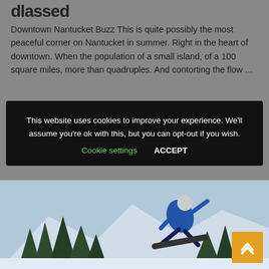dlassed
Downtown Nantucket Buzz This is quite possibly the most peaceful corner on Nantucket in summer. Right in the heart of downtown. When the population of a small island, of a 100 square miles, more than quadruples. And contorting the flow ...
This website uses cookies to improve your experience. We'll assume you're ok with this, but you can opt-out if you wish. Cookie settings ACCEPT
[Figure (photo): Snowboarder jumping in the air against a backdrop of pine trees and snowy mountain landscape. An orange date badge showing 2019 is visible in the lower left. An orange scroll-to-top button is in the lower right.]